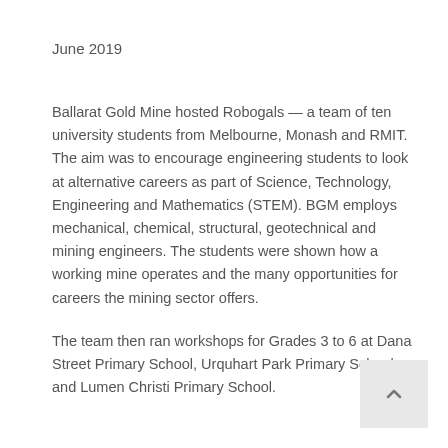June 2019
Ballarat Gold Mine hosted Robogals — a team of ten university students from Melbourne, Monash and RMIT. The aim was to encourage engineering students to look at alternative careers as part of Science, Technology, Engineering and Mathematics (STEM). BGM employs mechanical, chemical, structural, geotechnical and mining engineers. The students were shown how a working mine operates and the many opportunities for careers the mining sector offers.
The team then ran workshops for Grades 3 to 6 at Dana Street Primary School, Urquhart Park Primary School and Lumen Christi Primary School.